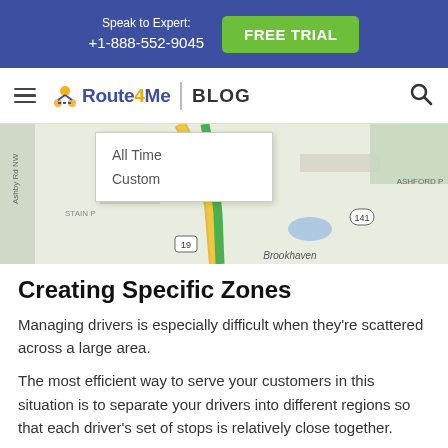Speak to Expert: +1-888-552-9045  FREE TRIAL
Route4Me | BLOG
[Figure (screenshot): Screenshot of a map interface showing a dropdown menu with options 'All Time' and 'Custom', overlaid on a street map showing Brookhaven area with roads including route 19 and 141.]
Creating Specific Zones
Managing drivers is especially difficult when they're scattered across a large area.
The most efficient way to serve your customers in this situation is to separate your drivers into different regions so that each driver's set of stops is relatively close together.